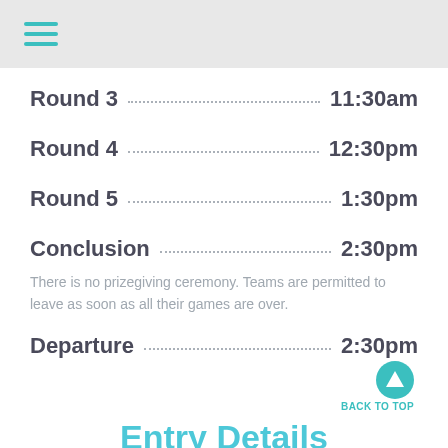hamburger menu icon
Round 3 ......................................... 11:30am
Round 4 ......................................... 12:30pm
Round 5 ......................................... 1:30pm
Conclusion ....................................... 2:30pm
There is no prizegiving ceremony. Teams are permitted to leave as soon as all their games are over.
Departure ........................................ 2:30pm
BACK TO TOP
Entry Details